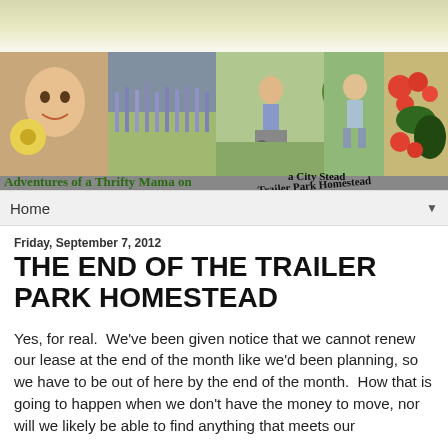[Figure (photo): Blog header banner with collage of homestead photos (child smiling with yellow flower, lavender plants, child with wheelbarrow, garden vegetables, toddler outdoors, basket of tomatoes and vegetables). Handwritten-style green text reads: Adventures of a Thrifty Mama on a City Stead / Trailer Park Homestead]
Home ▼
Friday, September 7, 2012
THE END OF THE TRAILER PARK HOMESTEAD
Yes, for real.  We've been given notice that we cannot renew our lease at the end of the month like we'd been planning, so we have to be out of here by the end of the month.  How that is going to happen when we don't have the money to move, nor will we likely be able to find anything that meets our